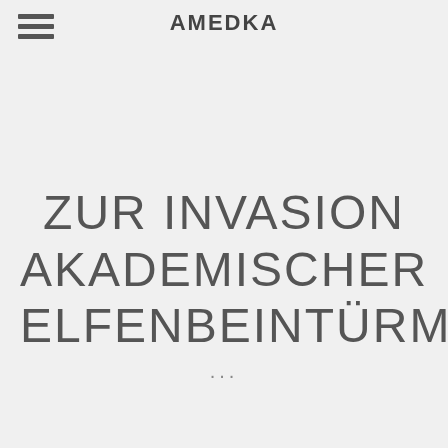≡  AMEDKA
ZUR INVASION AKADEMISCHER ELFENBEINTÜRME
...